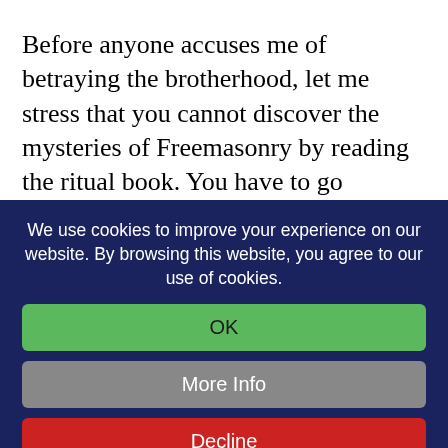Before anyone accuses me of betraying the brotherhood, let me stress that you cannot discover the mysteries of Freemasonry by reading the ritual book. You have to go through the process of initiation to realise and unlock the mystery, because it is a felt experience. You can not understand it in any other way than by doing it – just as you cannot learn to
We use cookies to improve your experience on our website. By browsing this website, you agree to our use of cookies.
OK
More Info
Decline